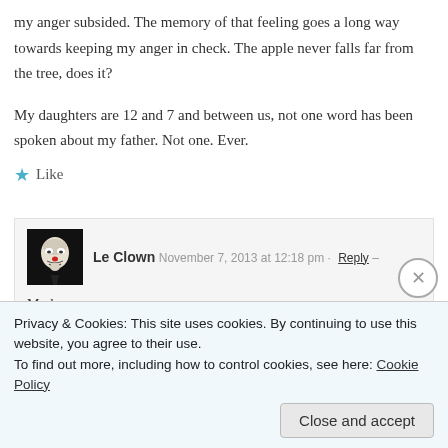my anger subsided. The memory of that feeling goes a long way towards keeping my anger in check. The apple never falls far from the tree, does it?
My daughters are 12 and 7 and between us, not one word has been spoken about my father. Not one. Ever.
★ Like
Le Clown  November 7, 2013 at 12:18 pm · Reply –
Mark,
I understand the feeling, about feeling remorseful, and keeping your emotions in check.
We do speak about my dad now, not in Star Wars...
Privacy & Cookies: This site uses cookies. By continuing to use this website, you agree to their use.
To find out more, including how to control cookies, see here: Cookie Policy
Close and accept